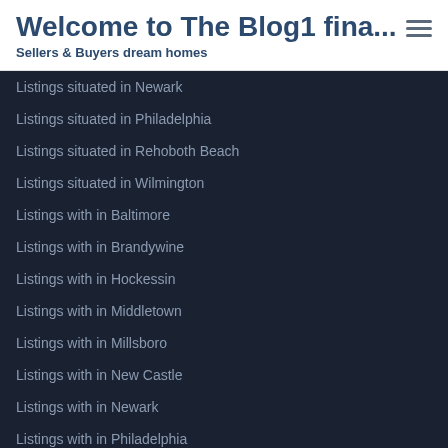Welcome to The Blog1 fina...
Sellers & Buyers dream homes
Listings situated in Newark
Listings situated in Philadelphia
Listings situated in Rehoboth Beach
Listings situated in Wilmington
Listings with in Baltimore
Listings with in Brandywine
Listings with in Hockessin
Listings with in Middletown
Listings with in Millsboro
Listings with in New Castle
Listings with in Newark
Listings with in Philadelphia
Listings with in Rehoboth Beach
Middletown Homes
Middletown Listings
Middletown Properties
Middletown Real Estate